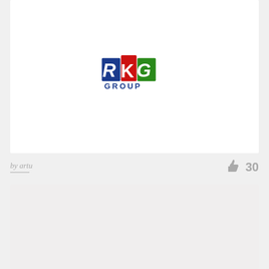[Figure (logo): RKG Group logo with colorful building icon (blue, red, green panels) and text 'RKG GROUP' in bold blue letters]
by artu
30